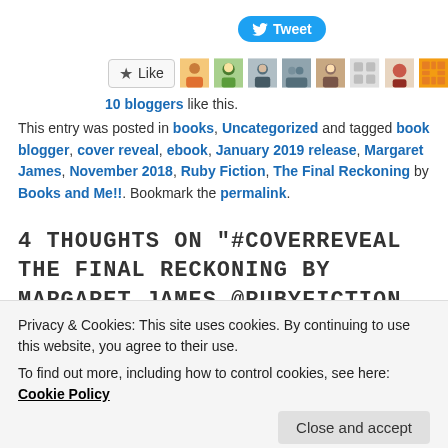[Figure (screenshot): Twitter Tweet button (blue rounded button with bird icon and 'Tweet' text)]
[Figure (screenshot): Like button with star icon and blogger avatars row showing 10 bloggers like this]
10 bloggers like this.
This entry was posted in books, Uncategorized and tagged book blogger, cover reveal, ebook, January 2019 release, Margaret James, November 2018, Ruby Fiction, The Final Reckoning by Books and Me!!. Bookmark the permalink.
4 THOUGHTS ON "#COVERREVEAL THE FINAL RECKONING BY MARGARET JAMES @RUBYFICTION
Privacy & Cookies: This site uses cookies. By continuing to use this website, you agree to their use.
To find out more, including how to control cookies, see here: Cookie Policy
Close and accept